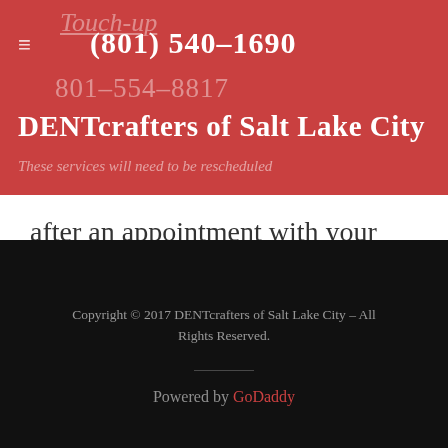Touch-up | (801) 540-1690 | 801-554-8817 | DENTcrafters of Salt Lake City | These services will need to be rescheduled
after an appointment with your  PDR technician.
Copyright © 2017 DENTcrafters of Salt Lake City – All Rights Reserved.
Powered by GoDaddy